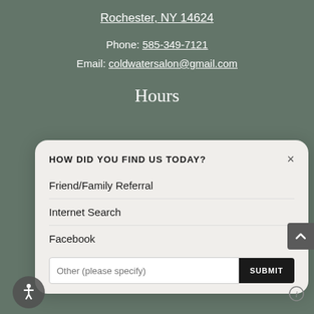Rochester, NY 14624
Phone: 585-349-7121
Email: coldwatersalon@gmail.com
Hours
[Figure (screenshot): Modal dialog titled 'HOW DID YOU FIND US TODAY?' with options: Friend/Family Referral, Internet Search, Facebook, and an 'Other (please specify)' input field with a SUBMIT button. Close X button in top right.]